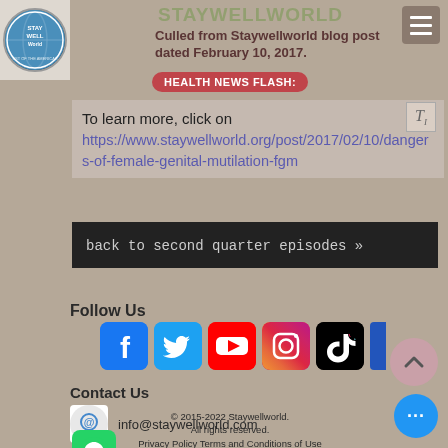[Figure (logo): Staywellworld circular logo with globe imagery]
STAYWELLWORLD
Culled from Staywellworld blog post dated February 10, 2017.
HEALTH NEWS FLASH:
To learn more, click on https://www.staywellworld.org/post/2017/02/10/dangers-of-female-genital-mutilation-fgm
back to second quarter episodes »
Follow Us
[Figure (illustration): Social media icons: Facebook, Twitter, YouTube, Instagram, TikTok]
Contact Us
info@staywellworld.com
+234-903 000 0797
© 2015-2022 Staywellworld. All rights reserved. Privacy Policy Terms and Conditions of Use